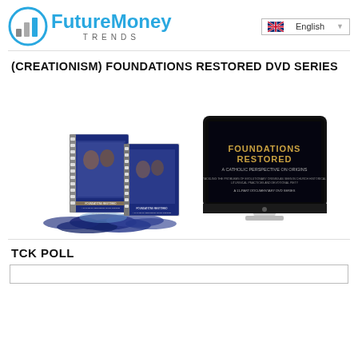FutureMoney TRENDS | English
(CREATIONISM) FOUNDATIONS RESTORED DVD SERIES
[Figure (photo): Product photo of Foundations Restored DVD series: two spiral-bound books, multiple DVDs, and a computer monitor displaying the Foundations Restored title screen.]
TCK POLL